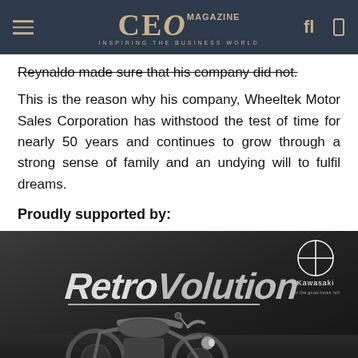CEO MAGAZINE — INSPIRING THE BUSINESS WORLD
Reynaldo made sure that his company did not. This is the reason why his company, Wheeltek Motor Sales Corporation has withstood the test of time for nearly 50 years and continues to grow through a strong sense of family and an undying will to fulfil dreams.
Proudly supported by:
[Figure (photo): Kawasaki RetroVolution Z650RS motorcycle advertisement showing a cruiser-style motorcycle on a dark background with 'RETROVOLUTION' text and Kawasaki logo]